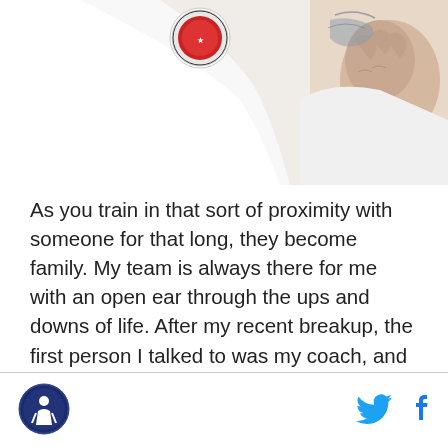[Figure (photo): Person wearing a white shirt/gi with a logo patch on the chest, partially visible, showing tattoo on forearm and hands clasped together]
As you train in that sort of proximity with someone for that long, they become family. My team is always there for me with an open ear through the ups and downs of life. After my recent breakup, the first person I talked to was my coach, and within a couple of hours I had teammates checking in on me. They all let me know they were there, and helped push me in training during the following weeks to take my mind off of things. I would get random
[Figure (logo): Circular logo with figure in blue and white at bottom left footer]
[Figure (logo): Twitter bird icon in cyan blue]
[Figure (logo): Facebook 'f' icon in blue]